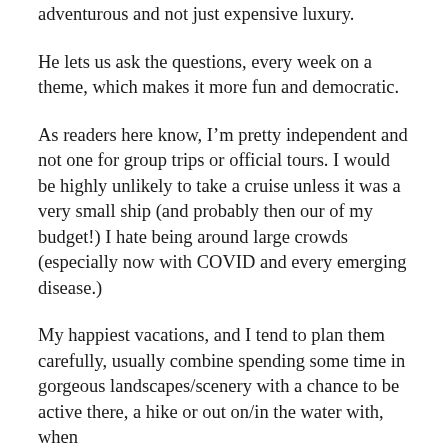adventurous and not just expensive luxury.
He lets us ask the questions, every week on a theme, which makes it more fun and democratic.
As readers here know, I’m pretty independent and not one for group trips or official tours. I would be highly unlikely to take a cruise unless it was a very small ship (and probably then our of my budget!) I hate being around large crowds (especially now with COVID and every emerging disease.)
My happiest vacations, and I tend to plan them carefully, usually combine spending some time in gorgeous landscapes/scenery with a chance to be active there, a hike or out on/in the water with, when